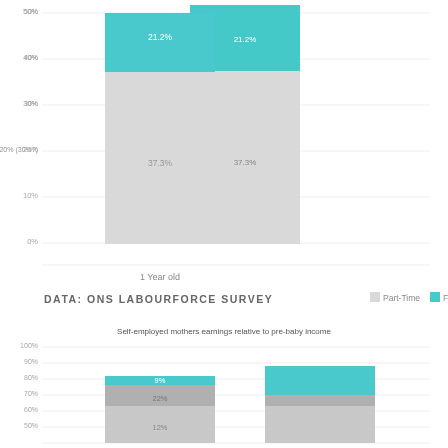[Figure (stacked-bar-chart): ]
DATA: ONS LABOURFORCE SURVEY
[Figure (stacked-bar-chart): Self-employed mothers earnings relative to pre-baby income]